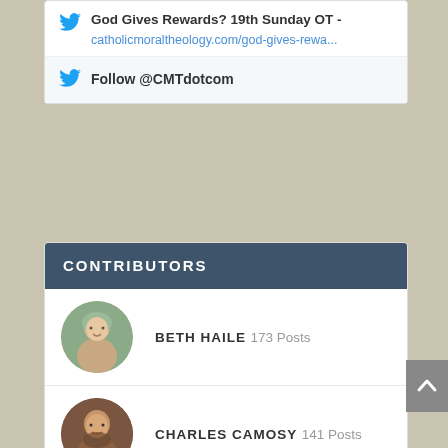God Gives Rewards? 19th Sunday OT -
catholicmoraltheology.com/god-gives-rewa...
Follow @CMTdotcom
CONTRIBUTORS
BETH HAILE 173 Posts
CHARLES CAMOSY 141 Posts
CONOR KELLY 35 Posts